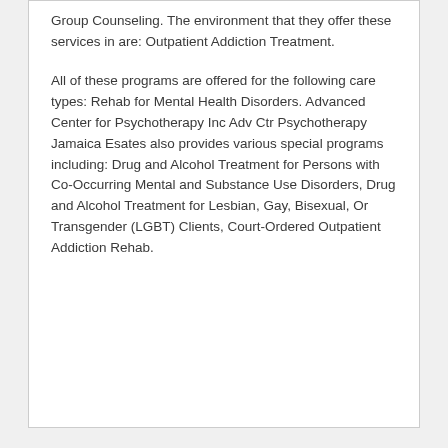Group Counseling. The environment that they offer these services in are: Outpatient Addiction Treatment.
All of these programs are offered for the following care types: Rehab for Mental Health Disorders. Advanced Center for Psychotherapy Inc Adv Ctr Psychotherapy Jamaica Esates also provides various special programs including: Drug and Alcohol Treatment for Persons with Co-Occurring Mental and Substance Use Disorders, Drug and Alcohol Treatment for Lesbian, Gay, Bisexual, Or Transgender (LGBT) Clients, Court-Ordered Outpatient Addiction Rehab.